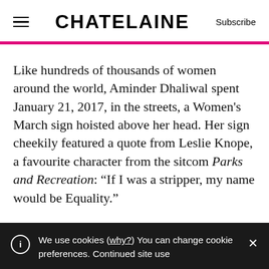CHATELAINE  Subscribe
Like hundreds of thousands of women around the world, Aminder Dhaliwal spent January 21, 2017, in the streets, a Women's March sign hoisted above her head. Her sign cheekily featured a quote from Leslie Knope, a favourite character from the sitcom Parks and Recreation: “If I was a stripper, my name would be Equality.”
We use cookies (why?) You can change cookie preferences. Continued site use